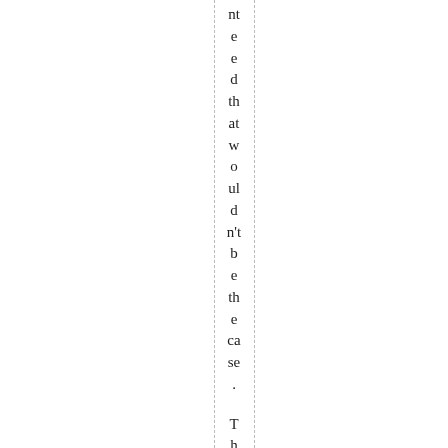nt e e d th at w o ul d n't b e th e ca se .
T h e N e w M ex ic o g